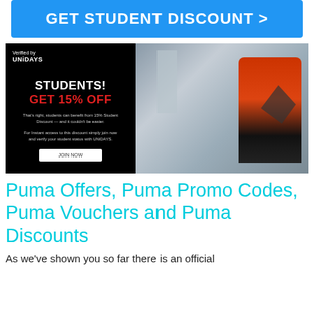[Figure (screenshot): Blue button with text GET STUDENT DISCOUNT >]
[Figure (photo): Puma student discount banner showing UNiDAYS verification logo on black background with STUDENTS! GET 15% OFF text alongside photo of two people in Puma sportswear on a rooftop with a building in background]
Puma Offers, Puma Promo Codes, Puma Vouchers and Puma Discounts
As we've shown you so far there is an official